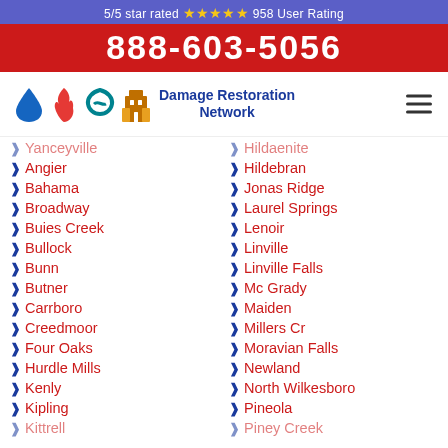5/5 star rated ⭐⭐⭐⭐⭐ 958 User Rating
888-603-5056
[Figure (logo): Damage Restoration Network logo with water drop, flame, hurricane, and building icons]
Yanceyville
Angier
Bahama
Broadway
Buies Creek
Bullock
Bunn
Butner
Carrboro
Creedmoor
Four Oaks
Hurdle Mills
Kenly
Kipling
Kittrell
Hildaenite
Hildebran
Jonas Ridge
Laurel Springs
Lenoir
Linville
Linville Falls
Mc Grady
Maiden
Millers Creek
Moravian Falls
Newland
North Wilkesboro
Pineola
Piney Creek